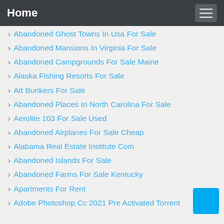Home
Abandoned Ghost Towns In Usa For Sale
Abandoned Mansions In Virginia For Sale
Abandoned Campgrounds For Sale Maine
Alaska Fishing Resorts For Sale
Att Bunkers For Sale
Abandoned Places In North Carolina For Sale
Aerolite 103 For Sale Used
Abandoned Airplanes For Sale Cheap
Alabama Real Estate Institute Com
Abandoned Islands For Sale
Abandoned Farms For Sale Kentucky
Apartments For Rent
Adobe Photoshop Cc 2021 Pre Activated Torrent